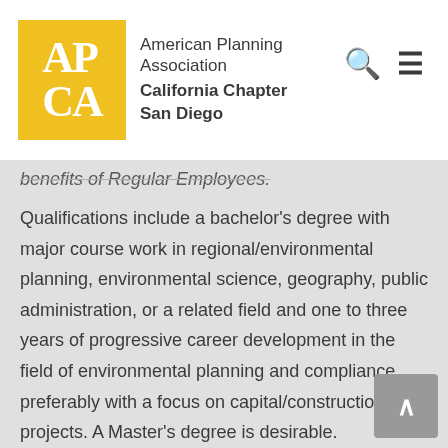[Figure (logo): APA CA logo — yellow square with white serif letters APA over CA, next to text 'American Planning Association / California Chapter / San Diego']
benefits of Regular Employees.
Qualifications include a bachelor's degree with major course work in regional/environmental planning, environmental science, geography, public administration, or a related field and one to three years of progressive career development in the field of environmental planning and compliance, preferably with a focus on capital/construction projects. A Master's degree is desirable.
SANDAG rewards the efforts of its employees with a comprehensive compensation package. Competitive salaries are supplemented with a flexible offering of